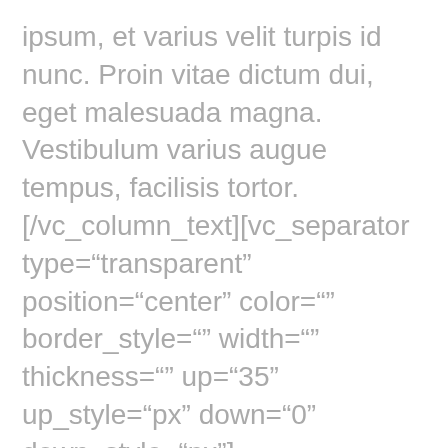ipsum, et varius velit turpis id nunc. Proin vitae dictum dui, eget malesuada magna. Vestibulum varius augue tempus, facilisis tortor.[/vc_column_text][vc_separator type="transparent" position="center" color="" border_style="" width="" thickness="" up="35" up_style="px" down="0" down_style="px"] [vc_column_text]Nullam nec tellus id libero porttitor pretium ut quis neque. Cras dapibus odio in dolor elementum porta. In hendrerit a velit sed feugiat. Pellentesque egestas sit amet nunc a dictum. Pellentesque nec maximus orci. Nullam ac elit semper, consequat ex at, suscipit ex